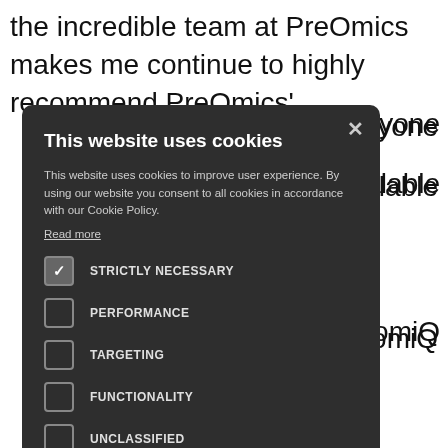the incredible team at PreOmics makes me continue to highly recommend PreOmics' anyone alable nomiQ als?
[Figure (screenshot): Cookie consent modal dialog with dark background. Title: 'This website uses cookies'. Body text: 'This website uses cookies to improve user experience. By using our website you consent to all cookies in accordance with our Cookie Policy. Read more'. Checkboxes: STRICTLY NECESSARY (checked), PERFORMANCE (unchecked), TARGETING (unchecked), FUNCTIONALITY (unchecked), UNCLASSIFIED (unchecked). Buttons: ACCEPT ALL (green), DECLINE ALL (outlined). Footer: gear icon + SHOW DETAILS.]